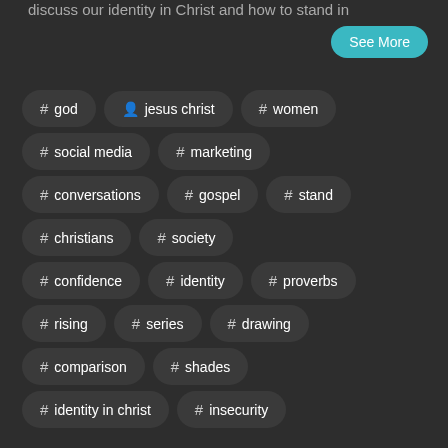discuss our identity in Christ and how to stand in
See More
# god
# jesus christ
# women
# social media
# marketing
# conversations
# gospel
# stand
# christians
# society
# confidence
# identity
# proverbs
# rising
# series
# drawing
# comparison
# shades
# identity in christ
# insecurity